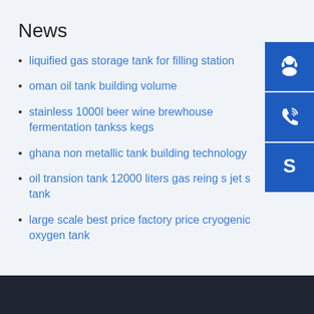News
liquified gas storage tank for filling station
oman oil tank building volume
stainless 1000l beer wine brewhouse fermentation tankss kegs
ghana non metallic tank building technology
oil transion tank 12000 liters gas reing s jet s tank
large scale best price factory price cryogenic oxygen tank
[Figure (infographic): Three blue icon buttons on the right side: customer service/headset icon, phone/call icon, and Skype icon]